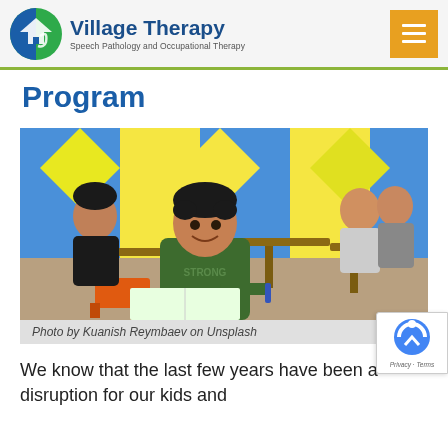Village Therapy — Speech Pathology and Occupational Therapy
Program
[Figure (photo): Children sitting at desks in a colorful classroom, one boy in the foreground wearing a green 'STRONG' hoodie and holding a pen, looking attentively.]
Photo by Kuanish Reymbaev on Unsplash
We know that the last few years have been a disruption for our kids and